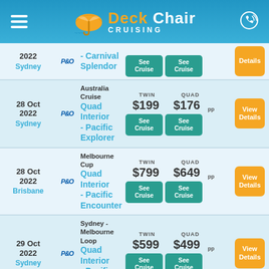Deck Chair Cruising
| Date | Line | Cruise | TWIN | QUAD | Action |
| --- | --- | --- | --- | --- | --- |
| 2022 Sydney | P&O | Carnival Splendor | See Cruise | See Cruise | Details |
| 28 Oct 2022 Sydney | P&O | Australia Cruise Quad Interior - Pacific Explorer | $199 | $176 pp | View Details |
| 28 Oct 2022 Brisbane | P&O | Melbourne Cup Quad Interior - Pacific Encounter | $799 | $649 | View Details |
| 29 Oct 2022 Sydney | P&O | Sydney - Melbourne Loop Quad Interior - Pacific Adventure | $599 | $499 | View Details |
|  |  | New Zealand | was $5998.34 pp | was $6373.64 pp |  |